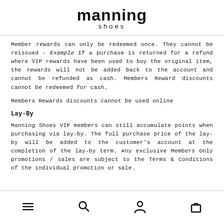manning shoes
Member rewards can only be redeemed once. They cannot be reissued - Example If a purchase is returned for a refund where VIP rewards have been used to buy the original item, the rewards will not be added back to the account and cannot be refunded as cash. Members Reward discounts cannot be redeemed for cash.
Members Rewards discounts cannot be used online
Lay-By
Manning Shoes VIP members can still accumulate points when purchasing via lay-by. The full purchase price of the lay-by will be added to the customer's account at the completion of the lay-by term. Any exclusive Members Only promotions / sales are subject to the Terms & Conditions of the individual promotion or sale.
Navigation icons: menu, search, account, cart